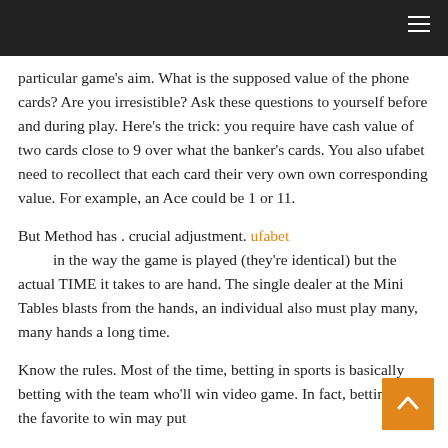particular game's aim. What is the supposed value of the phone cards? Are you irresistible? Ask these questions to yourself before and during play. Here's the trick: you require have cash value of two cards close to 9 over what the banker's cards. You also ufabet need to recollect that each card their very own own corresponding value. For example, an Ace could be 1 or 11.
But Method has . crucial adjustment. ufabet in the way the game is played (they're identical) but the actual TIME it takes to are hand. The single dealer at the Mini Tables blasts from the hands, an individual also must play many, many hands a long time.
Know the rules. Most of the time, betting in sports is basically betting with the team who'll win video game. In fact, betting on the favorite to win may put